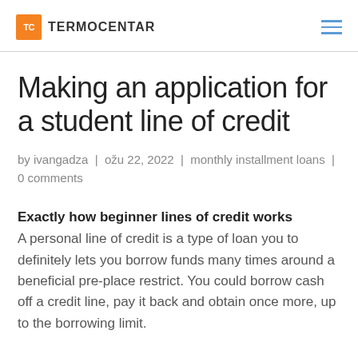TC TERMOCENTAR
Making an application for a student line of credit
by ivangadza | ožu 22, 2022 | monthly installment loans | 0 comments
Exactly how beginner lines of credit works
A personal line of credit is a type of loan you to definitely lets you borrow funds many times around a beneficial pre-place restrict. You could borrow cash off a credit line, pay it back and obtain once more, up to the borrowing limit.